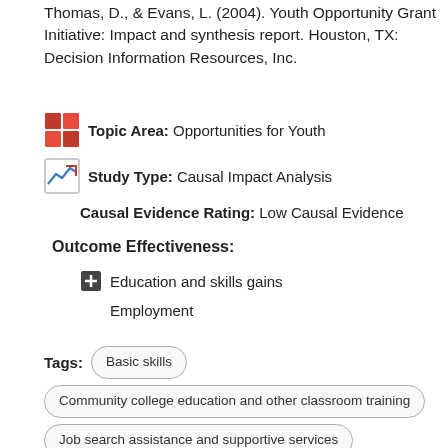Thomas, D., & Evans, L. (2004). Youth Opportunity Grant Initiative: Impact and synthesis report. Houston, TX: Decision Information Resources, Inc.
Topic Area: Opportunities for Youth
Study Type: Causal Impact Analysis
Causal Evidence Rating: Low Causal Evidence
Outcome Effectiveness:
Education and skills gains
Employment
Tags: Basic skills, Community college education and other classroom training, Job search assistance and supportive services, Other training and education, Work based and other occupational training, Youth programs